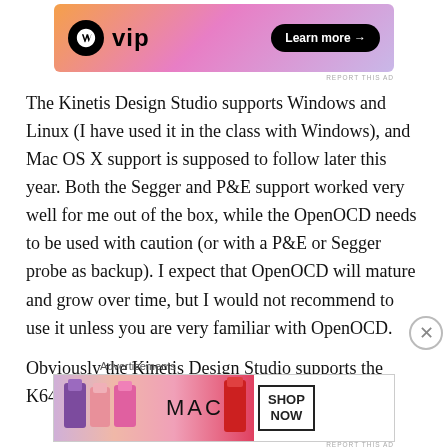[Figure (screenshot): WordPress VIP advertisement banner with gradient orange-pink-purple background, W logo, 'vip' text, and 'Learn more →' button]
The Kinetis Design Studio supports Windows and Linux (I have used it in the class with Windows), and Mac OS X support is supposed to follow later this year. Both the Segger and P&E support worked very well for me out of the box, while the OpenOCD needs to be used with caution (or with a P&E or Segger probe as backup). I expect that OpenOCD will mature and grow over time, but I would not recommend to use it unless you are very familiar with OpenOCD.
Obviously the Kinetis Design Studio supports the K64F,
Advertisements
[Figure (screenshot): MAC cosmetics advertisement showing lipsticks with SHOP NOW button]